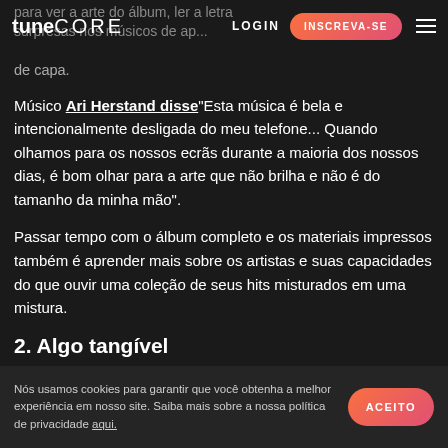tune CORE | LOGIN | INSCREVA-SE
para ver a arte do álbum, ler a letra surpresas nos músicos de ap... de capa.
Músico Ari Herstand disse "Esta música é bela e intencionalmente desligada do meu telefone... Quando olhamos para os nossos ecrãs durante a maioria dos nossos dias, é bom olhar para a arte que não brilha e não é do tamanho da minha mão".
Passar tempo com o álbum completo e os materiais impressos também é aprender mais sobre os artistas e suas capacidades do que ouvir uma coleção de seus hits misturados em uma mistura.
2. Algo tangível
Nós usamos cookies para garantir que você obtenha a melhor experiência em nosso site. Saiba mais sobre a nossa política de privacidade aqui. ACEITO